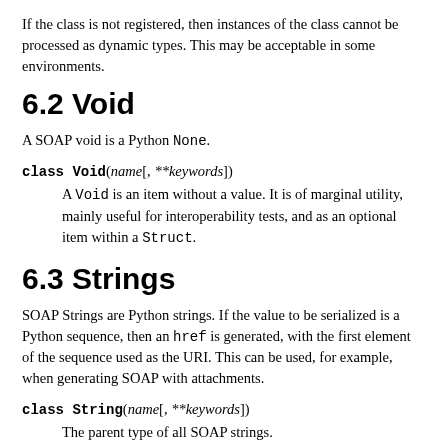If the class is not registered, then instances of the class cannot be processed as dynamic types. This may be acceptable in some environments.
6.2 Void
A SOAP void is a Python None.
class Void(name[, **keywords])
    A Void is an item without a value. It is of marginal utility, mainly useful for interoperability tests, and as an optional item within a Struct.
6.3 Strings
SOAP Strings are Python strings. If the value to be serialized is a Python sequence, then an href is generated, with the first element of the sequence used as the URI. This can be used, for example, when generating SOAP with attachments.
class String(name[, **keywords])
    The parent type of all SOAP strings.